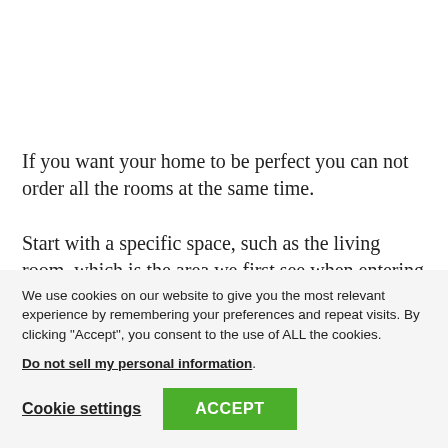If you want your home to be perfect you can not order all the rooms at the same time.
Start with a specific space, such as the living room, which is the area we first see when entering (or the
We use cookies on our website to give you the most relevant experience by remembering your preferences and repeat visits. By clicking “Accept”, you consent to the use of ALL the cookies.
Do not sell my personal information.
Cookie settings
ACCEPT